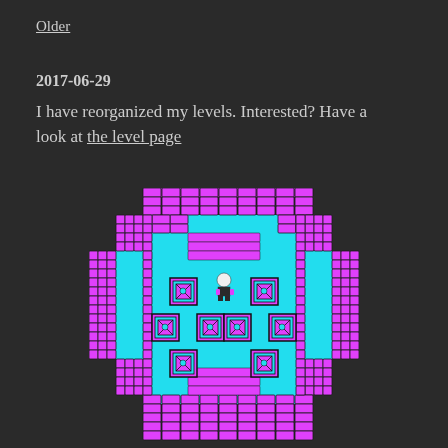Older
2017-06-29
I have reorganized my levels. Interested? Have a look at the level page
[Figure (screenshot): Pixel art / retro video game screenshot showing a top-down dungeon room with cyan floor, magenta/pink brick walls, decorative tile objects, and a small character sprite in the center.]